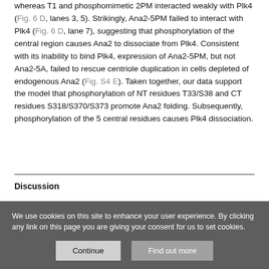whereas T1 and phosphomimetic 2PM interacted weakly with Plk4 (Fig. 6 D, lanes 3, 5). Strikingly, Ana2-5PM failed to interact with Plk4 (Fig. 6 D, lane 7), suggesting that phosphorylation of the central region causes Ana2 to dissociate from Plk4. Consistent with its inability to bind Plk4, expression of Ana2-5PM, but not Ana2-5A, failed to rescue centriole duplication in cells depleted of endogenous Ana2 (Fig. S4 E). Taken together, our data support the model that phosphorylation of NT residues T33/S38 and CT residues S318/S370/S373 promote Ana2 folding. Subsequently, phosphorylation of the 5 central residues causes Plk4 dissociation.
Discussion
We use cookies on this site to enhance your user experience. By clicking any link on this page you are giving your consent for us to set cookies.